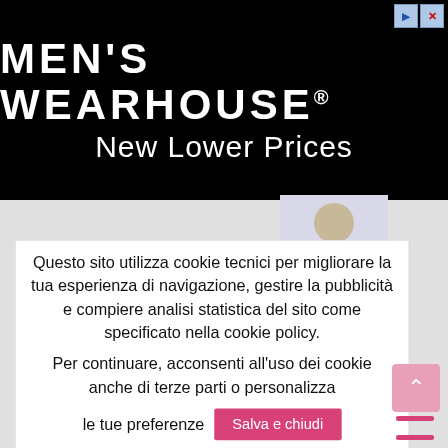[Figure (logo): Men's Wearhouse advertisement banner with black background, brand name in large white uppercase letters with registered trademark symbol, and 'New Lower Prices' tagline in white below]
[Figure (photo): Partial photo of a man in a dark suit, cropped, appearing behind the cookie consent modal]
Questo sito utilizza cookie tecnici per migliorare la tua esperienza di navigazione, gestire la pubblicità e compiere analisi statistica del sito come specificato nella cookie policy.
Per continuare, acconsenti all'uso dei cookie anche di terze parti o personalizza le tue preferenze
Salva e chiudi
Personalizza cookie
Leggi di più